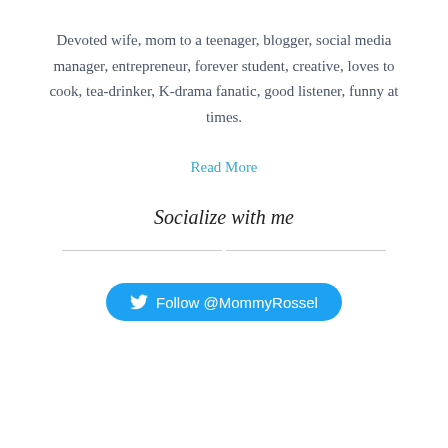Devoted wife, mom to a teenager, blogger, social media manager, entrepreneur, forever student, creative, loves to cook, tea-drinker, K-drama fanatic, good listener, funny at times.
Read More
Socialize with me
[Figure (other): Twitter Follow button with bird icon reading 'Follow @MommyRossel']